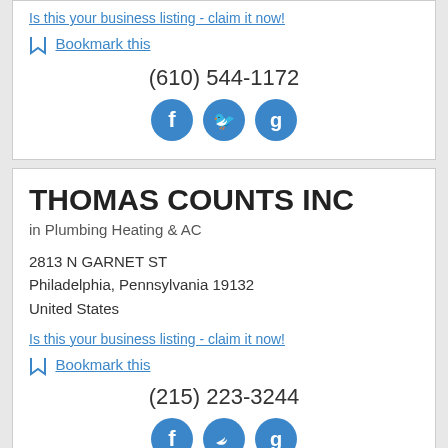Is this your business listing - claim it now!
Bookmark this
(610) 544-1172
[Figure (other): Social media icons: Facebook, Twitter, Google+]
THOMAS COUNTS INC
in Plumbing Heating & AC
2813 N GARNET ST
Philadelphia, Pennsylvania 19132
United States
Is this your business listing - claim it now!
Bookmark this
(215) 223-3244
[Figure (other): Social media icons: Facebook, Twitter, Google+]